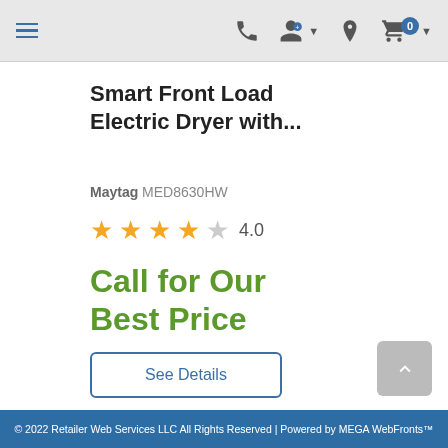Navigation header with menu, phone, account, location, and cart icons
Smart Front Load Electric Dryer with...
Maytag MED8630HW
4.0 stars rating
Call for Our Best Price
See Details
© 2022 Retailer Web Services LLC All Rights Reserved | Powered by MEGA WebFronts™